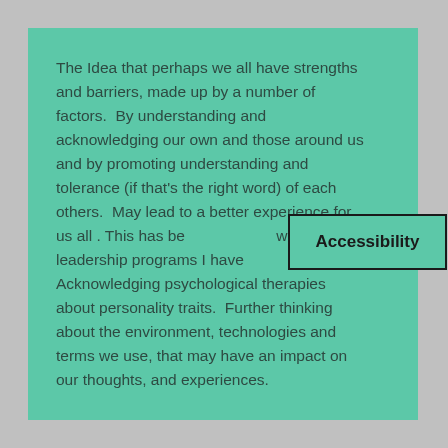The Idea that perhaps we all have strengths and barriers, made up by a number of factors.  By understanding and acknowledging our own and those around us and by promoting understanding and tolerance (if that's the right word) of each others.  May lead to a better experience for us all . This has be[en promoted] within leadership programs I have [attended]. Acknowledging psychological therapies about personality traits.  Further thinking about the environment, technologies and terms we use, that may have an impact on our thoughts, and experiences.
[Figure (other): A button/badge overlay with bold text reading 'Accessibility' in dark color on a teal/green background with a dark border.]